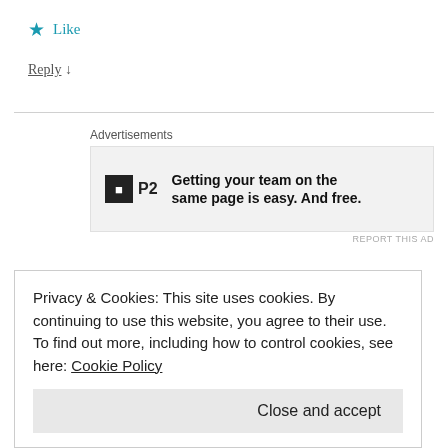★ Like
Reply ↓
[Figure (other): Advertisement banner: P2 logo with text 'Getting your team on the same page is easy. And free.']
Evergold Farms CBD
September 12, 2021 at 2:47 am
Privacy & Cookies: This site uses cookies. By continuing to use this website, you agree to their use.
To find out more, including how to control cookies, see here: Cookie Policy

Close and accept